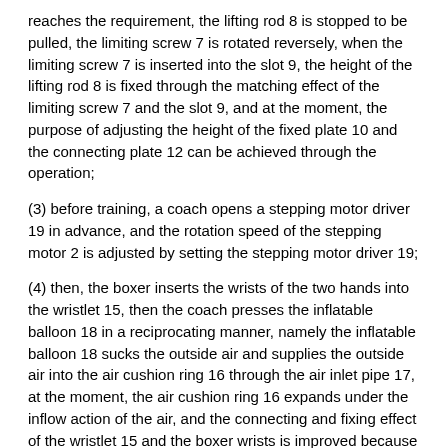reaches the requirement, the lifting rod 8 is stopped to be pulled, the limiting screw 7 is rotated reversely, when the limiting screw 7 is inserted into the slot 9, the height of the lifting rod 8 is fixed through the matching effect of the limiting screw 7 and the slot 9, and at the moment, the purpose of adjusting the height of the fixed plate 10 and the connecting plate 12 can be achieved through the operation;
(3) before training, a coach opens a stepping motor driver 19 in advance, and the rotation speed of the stepping motor 2 is adjusted by setting the stepping motor driver 19;
(4) then, the boxer inserts the wrists of the two hands into the wristlet 15, then the coach presses the inflatable balloon 18 in a reciprocating manner, namely the inflatable balloon 18 sucks the outside air and supplies the outside air into the air cushion ring 16 through the air inlet pipe 17, at the moment, the air cushion ring 16 expands under the inflow action of the air, and the connecting and fixing effect of the wristlet 15 and the boxer wrists is improved because the wristlet 15 is made of hard materials, namely the air cushion ring 16 expands inwards;